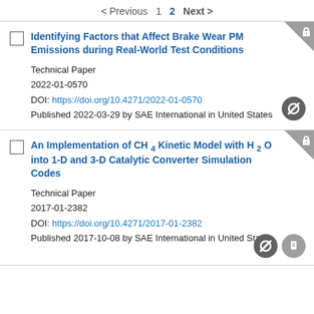< Previous  1  2  Next >
Identifying Factors that Affect Brake Wear PM Emissions during Real-World Test Conditions
Technical Paper
2022-01-0570
DOI: https://doi.org/10.4271/2022-01-0570
Published 2022-03-29 by SAE International in United States
An Implementation of CH4 Kinetic Model with H2O into 1-D and 3-D Catalytic Converter Simulation Codes
Technical Paper
2017-01-2382
DOI: https://doi.org/10.4271/2017-01-2382
Published 2017-10-08 by SAE International in United States